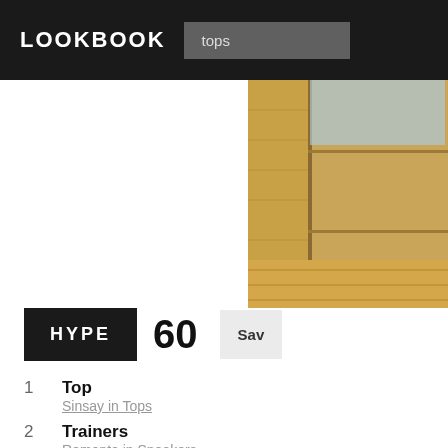LOOKBOOK
tops
[Figure (photo): Partial photo of wooden cabinet/door with wood flooring visible, cropped at right edge of page]
HYPE 60 Save
1  Top
Sinsay in Tops
2  Trainers
Remonte in Sneakers
Room to grow
by Mucha L., upper secondary school